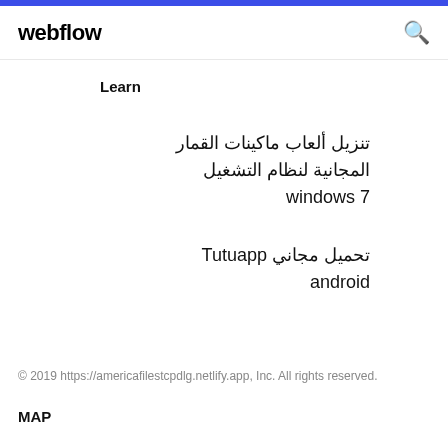webflow
Learn
تنزيل ألعاب ماكينات القمار المجانية لنظام التشغيل windows 7
تحميل مجاني Tutuapp android
© 2019 https://americafilestcpdlg.netlify.app, Inc. All rights reserved.
MAP